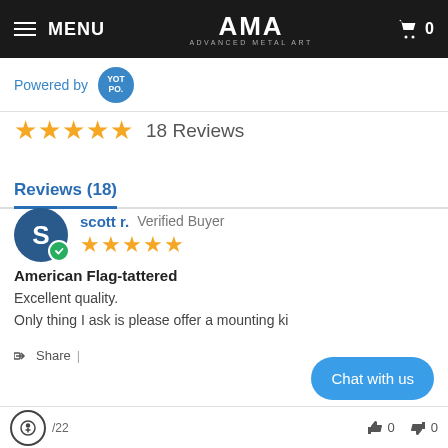MENU | AMA ADVANCED METAL ART | 0
Powered by YOTPO
★★★★★ 18 Reviews
Reviews (18)
scott r. Verified Buyer ★★★★★ American Flag-tattered Excellent quality. Only thing I ask is please offer a mounting ki
Share |
/22  👍 0  👎 0